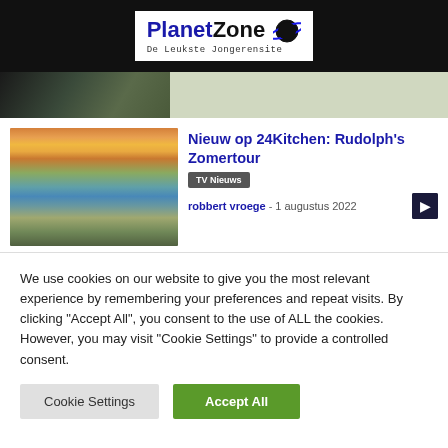PlanetZone - De Leukste Jongerensite
[Figure (photo): Top strip with partial car/outdoor image]
[Figure (photo): Chef standing in front of colorful waterfront buildings (Nyhavn, Copenhagen)]
Nieuw op 24Kitchen: Rudolph's Zomertour
TV Nieuws
robbert vroege - 1 augustus 2022
We use cookies on our website to give you the most relevant experience by remembering your preferences and repeat visits. By clicking "Accept All", you consent to the use of ALL the cookies. However, you may visit "Cookie Settings" to provide a controlled consent.
Cookie Settings
Accept All